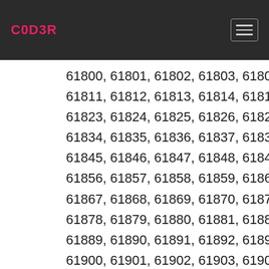C0D3R
61800, 61801, 61802, 61803, 61804, 61805, 61806, 61807, 61808, 61809, 61810, 61811, 61812, 61813, 61814, 61815, 61816, 61817, 61818, 61819, 61820, 61821, 61822, 61823, 61824, 61825, 61826, 61827, 61828, 61829, 61830, 61831, 61832, 61833, 61834, 61835, 61836, 61837, 61838, 61839, 61840, 61841, 61842, 61843, 61844, 61845, 61846, 61847, 61848, 61849, 61850, 61851, 61852, 61853, 61854, 61855, 61856, 61857, 61858, 61859, 61860, 61861, 61862, 61863, 61864, 61865, 61866, 61867, 61868, 61869, 61870, 61871, 61872, 61873, 61874, 61875, 61876, 61877, 61878, 61879, 61880, 61881, 61882, 61883, 61884, 61885, 61886, 61887, 61888, 61889, 61890, 61891, 61892, 61893, 61894, 61895, 61896, 61897, 61898, 61899, 61900, 61901, 61902, 61903, 61904, 61905, 61906, 61907, 61908, 61909, 61910, 61911, 61912, 61913, 61914, 61915, 61916, 61917, 61918, 61919, 61920, 61921, 61922, 61923, 61924, 61925, 61926, 61927, 61928, 61929, 61930, 61931, 61932, 61933, 61934, 61935, 61936, 61937, 61938, 61939, 61940, 61941, 61942, 61943, 61944, 61945, 61946, 61947, 61948, 61949, 61950, 61951, 61952, 61953, 61954, 61955, 61956, 61957, 61958, 61959, 61960, 61961, 61962, 61963, 61964, 61965, 61966, 61967, 61968, 61969, 61970, 61971, 61972, 61973, 61974, 61975